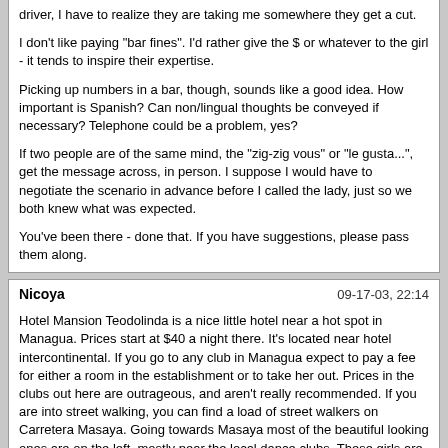driver, I have to realize they are taking me somewhere they get a cut.

I don't like paying "bar fines". I'd rather give the $ or whatever to the girl - it tends to inspire their expertise.

Picking up numbers in a bar, though, sounds like a good idea. How important is Spanish? Can non/lingual thoughts be conveyed if necessary? Telephone could be a problem, yes?

If two people are of the same mind, the "zig-zig vous" or "le gusta...", get the message across, in person. I suppose I would have to negotiate the scenario in advance before I called the lady, just so we both knew what was expected.

You've been there - done that. If you have suggestions, please pass them along.
Nicoya	09-17-03, 22:14

Hotel Mansion Teodolinda is a nice little hotel near a hot spot in Managua. Prices start at $40 a night there. It's located near hotel intercontinental. If you go to any club in Managua expect to pay a fee for either a room in the establishment or to take her out. Prices in the clubs out here are outrageous, and aren't really recommended. If you are into street walking, you can find a load of street walkers on Carretera Masaya. Going towards Masaya most of the beautiful looking ones are on the left, mostly near the local dance clubs. These girls are definately worth the 500-600 cords($40) you will be spending. Every now and then you can find a decent looking girl for around $20. The girls near Intercontinental usually charge around there. They post out in front of Lips and other spots around there. The massage parlors around here aren't as bad as some people in this board have been saying. If you can find some good ones you'll be in for a treat. Always carry just enough to pay the girl. A lot of girls out here have very sticky fingers. Spanish is very important, over here, if a girl notices that you are american they will jack up the prices just for you, so a guide is recommended. If your just looking to meet some people, you probably won't have a problem. The women out here can be very nice to gringos. I happened to know someone who would have been excellent at that, but he is no longer a taxi driver. I'm sure if you ask around here people can put you in